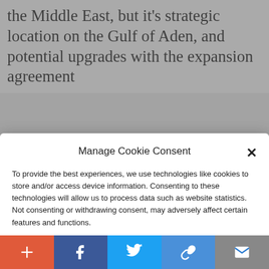the Middle East, but it's strategic location on the Gulf of Aden, and potential upgrades with the expansion agreement
Manage Cookie Consent
To provide the best experiences, we use technologies like cookies to store and/or access device information. Consenting to these technologies will allow us to process data such as website statistics. Not consenting or withdrawing consent, may adversely affect certain features and functions.
Accept
Cookie Policy  Privacy Policy
began in the early 1990s as al-Shabab al Mominiin (Religious Youth),
+ f twitter link mail